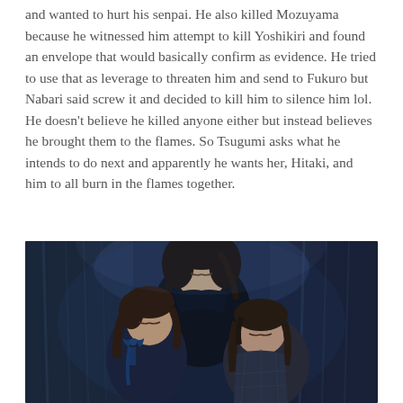and wanted to hurt his senpai. He also killed Mozuyama because he witnessed him attempt to kill Yoshikiri and found an envelope that would basically confirm as evidence. He tried to use that as leverage to threaten him and send to Fukuro but Nabari said screw it and decided to kill him to silence him lol. He doesn't believe he killed anyone either but instead believes he brought them to the flames. So Tsugumi asks what he intends to do next and apparently he wants her, Hitaki, and him to all burn in the flames together.
[Figure (illustration): Anime illustration showing three characters with dark hair in close embrace. A taller character leans over two shorter characters, all with their eyes closed, in a dark blue-toned atmospheric scene with curtains visible in the background.]